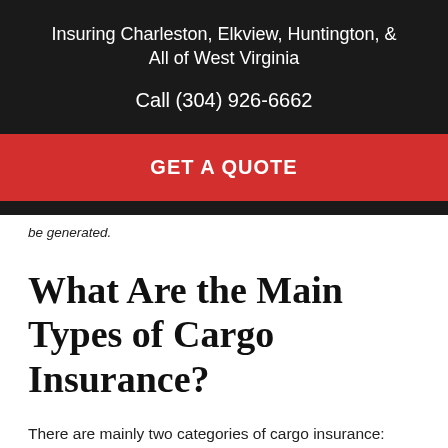Insuring Charleston, Elkview, Huntington, & All of West Virginia

Call (304) 926-6662
GET A QUOTE
be generated.
What Are the Main Types of Cargo Insurance?
There are mainly two categories of cargo insurance: